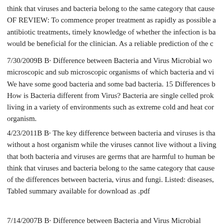think that viruses and bacteria belong to the same category that cause OF REVIEW: To commence proper treatment as rapidly as possible antibiotic treatments, timely knowledge of whether the infection is bacterial would be beneficial for the clinician. As a reliable prediction of the c
7/30/2009B B· Difference between Bacteria and Virus Microbial world microscopic and sub microscopic organisms of which bacteria and vi We have some good bacteria and some bad bacteria. 15 Differences b How is Bacteria different from Virus? Bacteria are single celled prok living in a variety of environments such as extreme cold and heat cor organism.
4/23/2011B B· The key difference between bacteria and viruses is tha without a host organism while the viruses cannot live without a living that both bacteria and viruses are germs that are harmful to human be think that viruses and bacteria belong to the same category that cause of the differences between bacteria, virus and fungi. Listed: diseases, Tabled summary available for download as .pdf
7/14/2007B B· Difference between Bacteria and Virus Microbial